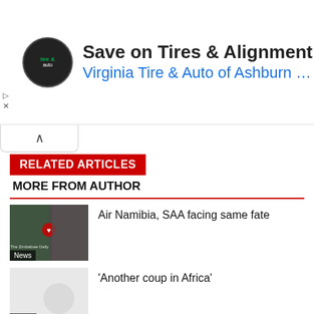[Figure (other): Advertisement banner: Save on Tires & Alignment - Virginia Tire & Auto of Ashburn ... with tire/auto logo and blue arrow diamond icon]
RELATED ARTICLES
MORE FROM AUTHOR
[Figure (photo): Thumbnail image from The Zimbabwe Daily showing two men, tagged News]
Air Namibia, SAA facing same fate
[Figure (photo): Gray placeholder thumbnail tagged Africa]
'Another coup in Africa'
[Figure (photo): Thumbnail image showing people with flags]
Zambia's stimulus package to aid economic recovery/ft...